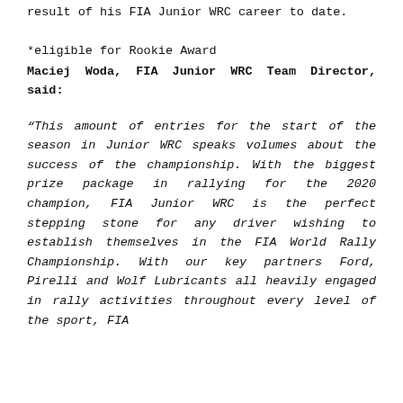result of his FIA Junior WRC career to date.
*eligible for Rookie Award
Maciej Woda, FIA Junior WRC Team Director, said:
“This amount of entries for the start of the season in Junior WRC speaks volumes about the success of the championship. With the biggest prize package in rallying for the 2020 champion, FIA Junior WRC is the perfect stepping stone for any driver wishing to establish themselves in the FIA World Rally Championship. With our key partners Ford, Pirelli and Wolf Lubricants all heavily engaged in rally activities throughout every level of the sport, FIA